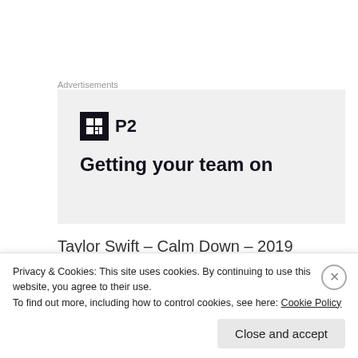Advertisements
[Figure (other): P2 advertisement banner with logo icon and headline 'Getting your team on' (text cut off)]
Taylor Swift – Calm Down – 2019
[Figure (screenshot): Video thumbnail with dark background, purple lighting, and 'WORLD' logo watermark visible]
Privacy & Cookies: This site uses cookies. By continuing to use this website, you agree to their use.
To find out more, including how to control cookies, see here: Cookie Policy
Close and accept